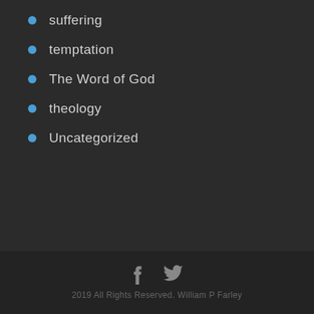suffering
temptation
The Word of God
theology
Uncategorized
2019 All Rights Reserved. William P Farley